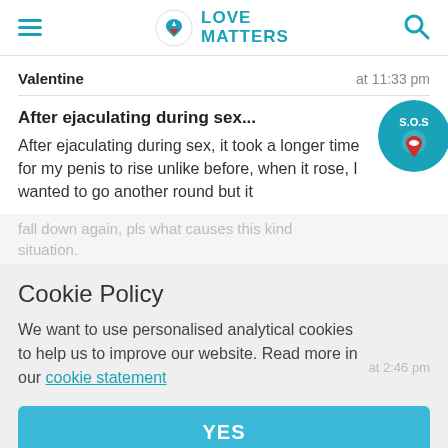Love Matters
Valentine   at 11:33 pm
After ejaculating during sex...
After ejaculating during sex, it took a longer time for my penis to rise unlike before, when it rose, I wanted to go another round but it fall down again, pls what causes this kind situation.
[Figure (illustration): SOS badge/button - teal circle with S.O.S text and a red lips location pin icon]
Cookie Policy
We want to use personalised analytical cookies to help us to improve our website. Read more in our cookie statement
YES
Hello Valentine, it's completely normal for